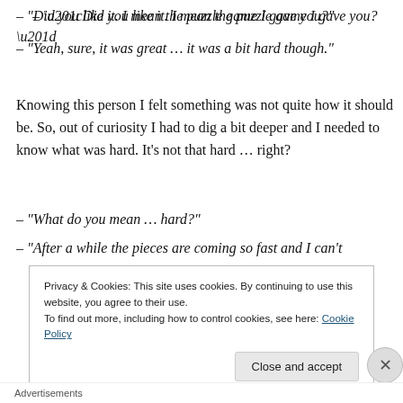– “Did you like it. I mean the puzzle game I gave you?”
– “Yeah, sure, it was great … it was a bit hard though.”
Knowing this person I felt something was not quite how it should be. So, out of curiosity I had to dig a bit deeper and I needed to know what was hard. It’s not that hard … right?
– “What do you mean … hard?”
– “After a while the pieces are coming so fast and I can’t
Privacy & Cookies: This site uses cookies. By continuing to use this website, you agree to their use.
To find out more, including how to control cookies, see here: Cookie Policy
Close and accept
Advertisements